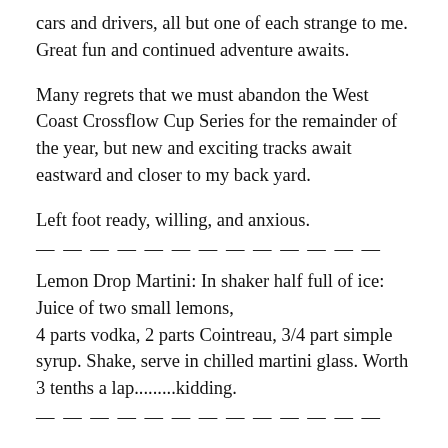cars and drivers, all but one of each strange to me. Great fun and continued adventure awaits.
Many regrets that we must abandon the West Coast Crossflow Cup Series for the remainder of the year, but new and exciting tracks await eastward and closer to my back yard.
Left foot ready, willing, and anxious.
— — — — — — — — — — — — —
Lemon Drop Martini: In shaker half full of ice: Juice of two small lemons,
4 parts vodka, 2 parts Cointreau, 3/4 part simple syrup. Shake, serve in chilled martini glass. Worth 3 tenths a lap.........kidding.
— — — — — — — — — — — — —